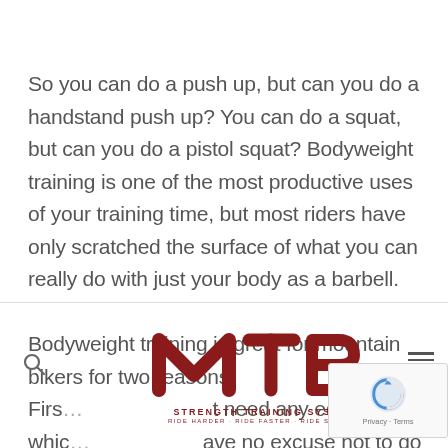So you can do a push up, but can you do a handstand push up? You can do a squat, but can you do a pistol squat? Bodyweight training is one of the most productive uses of your training time, but most riders have only scratched the surface of what you can really do with just your body as a barbell. Bodyweight training is great for mountain bikers for two reasons. Firs… it need any equipment, whic… ave no excuse not to do some strength training. As the sayin… wherever you go there you are and so you always
[Figure (logo): MTB Strength Training Systems logo with red MTB letters and tagline RIDE HARDER · RIDE FASTER · RIDE STRONGER]